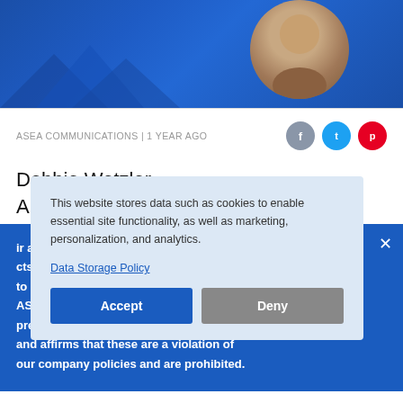[Figure (photo): Blue geometric background with partial view of a person's head/shoulder at top right]
ASEA COMMUNICATIONS | 1 YEAR AGO
[Figure (infographic): Social sharing icons: Facebook (grey), Twitter (blue), Pinterest (red)]
Debbie Wetzler
Ambassador Diamond Executive
This website stores data such as cookies to enable essential site functionality, as well as marketing, personalization, and analytics.
Data Storage Policy
Accept  Deny
ir associates and cts are not intended to diagnose, treat, cure, or prevent any disease. ASEA does not make any claim that its products prevent or cure COVID-19 or the coronavirus, and affirms that these are a violation of our company policies and are prohibited.